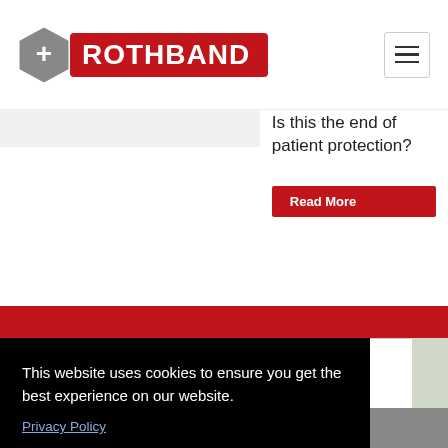Rothband
Is this the end of patient protection?
Read More
Twitter Feed
This website uses cookies to ensure you get the best experience on our website.
Privacy Policy
Got It